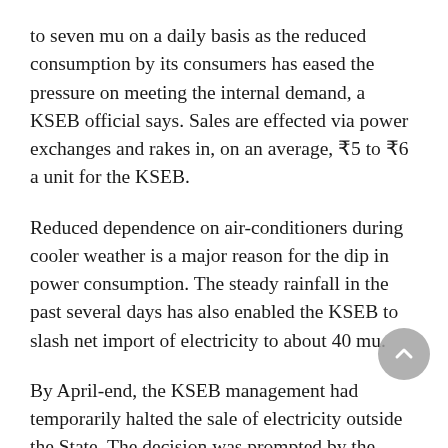to seven mu on a daily basis as the reduced consumption by its consumers has eased the pressure on meeting the internal demand, a KSEB official says. Sales are effected via power exchanges and rakes in, on an average, ₹5 to ₹6 a unit for the KSEB.
Reduced dependence on air-conditioners during cooler weather is a major reason for the dip in power consumption. The steady rainfall in the past several days has also enabled the KSEB to slash net import of electricity to about 40 mu.
By April-end, the KSEB management had temporarily halted the sale of electricity outside the State. The decision was prompted by the combined pressure of soaring internal demand triggered by the sweltering midsummer heat and supply shortages from thermal